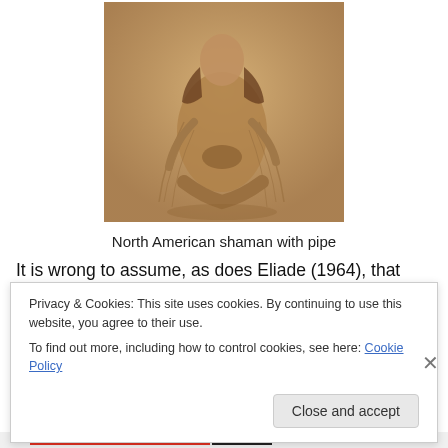[Figure (photo): Sepia-toned photograph of a North American shaman seated and holding a pipe, wearing traditional fringed clothing]
North American shaman with pipe
It is wrong to assume, as does Eliade (1964), that shamanism always involves a ‘soul in flight’ (Hultkrantz, 1973). The concept of the trance and magical flight allows the shaman to commune with the spirit entities. In other
Privacy & Cookies: This site uses cookies. By continuing to use this website, you agree to their use.
To find out more, including how to control cookies, see here: Cookie Policy
Close and accept